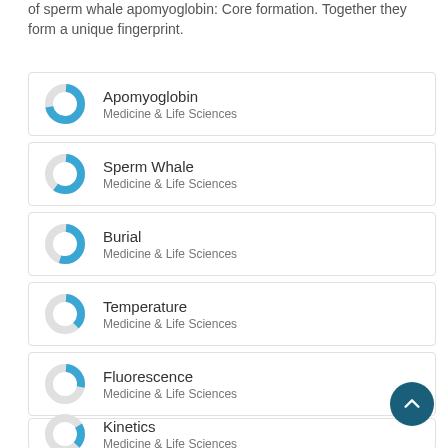of sperm whale apomyoglobin: Core formation. Together they form a unique fingerprint.
[Figure (donut-chart): Donut chart showing percentage for Apomyoglobin, Medicine & Life Sciences]
Apomyoglobin
Medicine & Life Sciences
[Figure (donut-chart): Donut chart showing percentage for Sperm Whale, Medicine & Life Sciences]
Sperm Whale
Medicine & Life Sciences
[Figure (donut-chart): Donut chart showing percentage for Burial, Medicine & Life Sciences]
Burial
Medicine & Life Sciences
[Figure (donut-chart): Donut chart showing percentage for Temperature, Medicine & Life Sciences]
Temperature
Medicine & Life Sciences
[Figure (donut-chart): Donut chart showing percentage for Fluorescence, Medicine & Life Sciences]
Fluorescence
Medicine & Life Sciences
[Figure (donut-chart): Donut chart showing percentage for Kinetics, Medicine & Life Sciences]
Kinetics
Medicine & Life Sciences